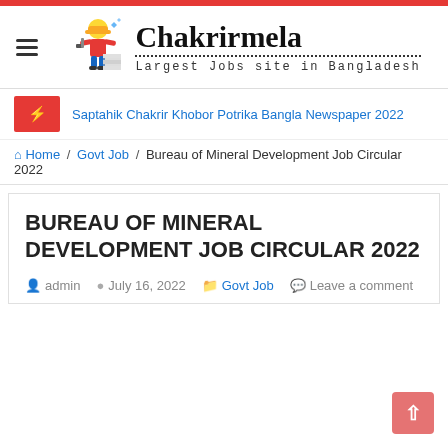Chakrirmela — Largest Jobs site in Bangladesh
Saptahik Chakrir Khobor Potrika Bangla Newspaper 2022
Home / Govt Job / Bureau of Mineral Development Job Circular 2022
BUREAU OF MINERAL DEVELOPMENT JOB CIRCULAR 2022
admin   July 16, 2022   Govt Job   Leave a comment